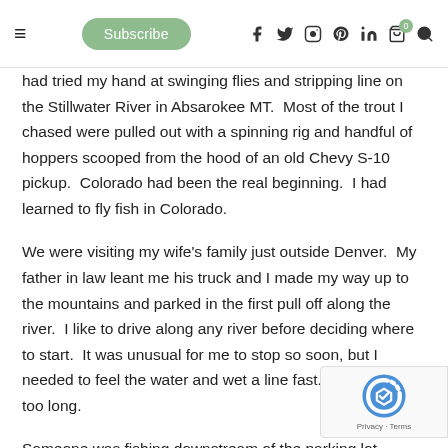≡  Subscribe  f  twitter  instagram  pinterest  in  cart(0)  search
had tried my hand at swinging flies and stripping line on the Stillwater River in Absarokee MT.  Most of the trout I chased were pulled out with a spinning rig and handful of hoppers scooped from the hood of an old Chevy S-10 pickup.  Colorado had been the real beginning.  I had learned to fly fish in Colorado.
We were visiting my wife's family just outside Denver.  My father in law leant me his truck and I made my way up to the mountains and parked in the first pull off along the river.  I like to drive along any river before deciding where to start.  It was unusual for me to stop so soon, but I needed to feel the water and wet a line fast.  It had been too long.
Someone was fishing downstream of the parking lot.  grabbed my gear, locked the car, and started wading upstream.  Only after I was knee deep in cold mountain